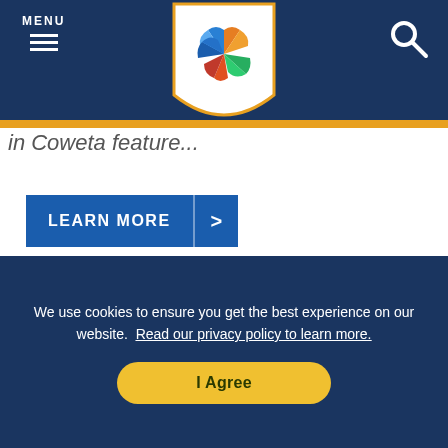MENU (navigation bar with hamburger icon and search icon)
[Figure (logo): Colorful star/pinwheel logo badge in white shield shape with orange bottom point]
in Coweta feature
LEARN MORE >
[Figure (photo): Interior of board game store showing shelves and stacks of board game boxes including Pandemic Legacy, Robinson, and other games]
We use cookies to ensure you get the best experience on our website.  Read our privacy policy to learn more.
I Agree